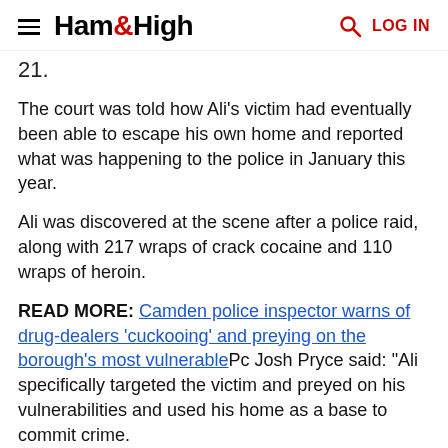Ham&High  LOG IN
21.
The court was told how Ali's victim had eventually been able to escape his own home and reported what was happening to the police in January this year.
Ali was discovered at the scene after a police raid, along with 217 wraps of crack cocaine and 110 wraps of heroin.
READ MORE: Camden police inspector warns of drug-dealers 'cuckooing' and preying on the borough's most vulnerablePc Josh Pryce said: "Ali specifically targeted the victim and preyed on his vulnerabilities and used his home as a base to commit crime.
"Drug dealing causes violence and misery across our communities; and vulnerable people can often be